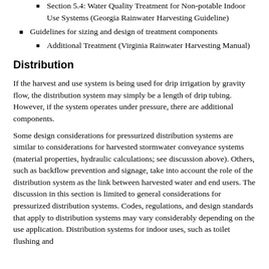Section 5.4: Water Quality Treatment for Non-potable Indoor Use Systems (Georgia Rainwater Harvesting Guideline)
Guidelines for sizing and design of treatment components
Additional Treatment (Virginia Rainwater Harvesting Manual)
Distribution
If the harvest and use system is being used for drip irrigation by gravity flow, the distribution system may simply be a length of drip tubing. However, if the system operates under pressure, there are additional components.
Some design considerations for pressurized distribution systems are similar to considerations for harvested stormwater conveyance systems (material properties, hydraulic calculations; see discussion above). Others, such as backflow prevention and signage, take into account the role of the distribution system as the link between harvested water and end users. The discussion in this section is limited to general considerations for pressurized distribution systems. Codes, regulations, and design standards that apply to distribution systems may vary considerably depending on the use application. Distribution systems for indoor uses, such as toilet flushing and